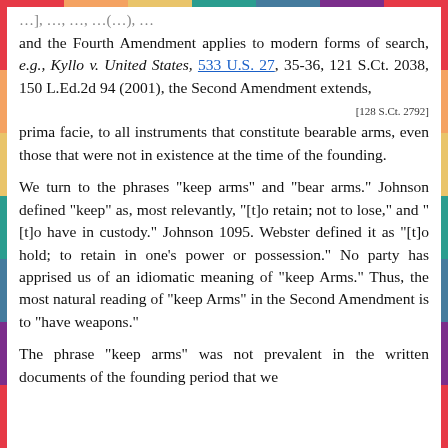and the Fourth Amendment applies to modern forms of search, e.g., Kyllo v. United States, 533 U.S. 27, 35-36, 121 S.Ct. 2038, 150 L.Ed.2d 94 (2001), the Second Amendment extends,
[128 S.Ct. 2792]
prima facie, to all instruments that constitute bearable arms, even those that were not in existence at the time of the founding.
We turn to the phrases "keep arms" and "bear arms." Johnson defined "keep" as, most relevantly, "[t]o retain; not to lose," and "[t]o have in custody." Johnson 1095. Webster defined it as "[t]o hold; to retain in one's power or possession." No party has apprised us of an idiomatic meaning of "keep Arms." Thus, the most natural reading of "keep Arms" in the Second Amendment is to "have weapons."
The phrase "keep arms" was not prevalent in the written documents of the founding period that we